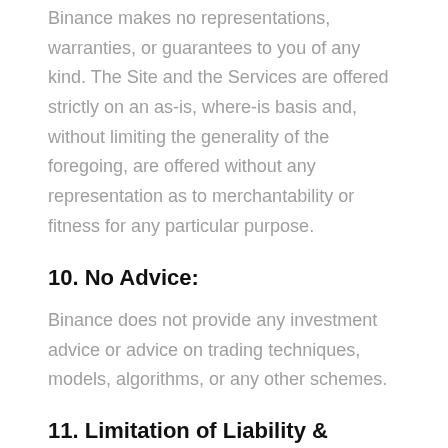Binance makes no representations, warranties, or guarantees to you of any kind. The Site and the Services are offered strictly on an as-is, where-is basis and, without limiting the generality of the foregoing, are offered without any representation as to merchantability or fitness for any particular purpose.
10. No Advice:
Binance does not provide any investment advice or advice on trading techniques, models, algorithms, or any other schemes.
11. Limitation of Liability & Release:
Important: Except as may be provided for in these Terms of Service, Binance assumes no liability or